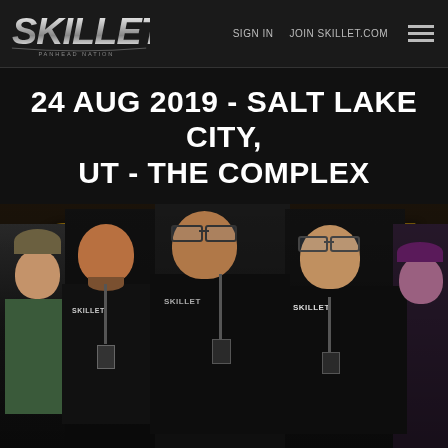SIGN IN   JOIN SKILLET.COM
[Figure (logo): Skillet band logo in metallic silver lettering]
24 AUG 2019 - SALT LAKE CITY, UT - THE COMPLEX
[Figure (photo): Group photo of four fans wearing Skillet merchandise t-shirts and lanyards, posing in front of a golden Skillet backdrop at a meet and greet event at The Complex in Salt Lake City on August 24, 2019]